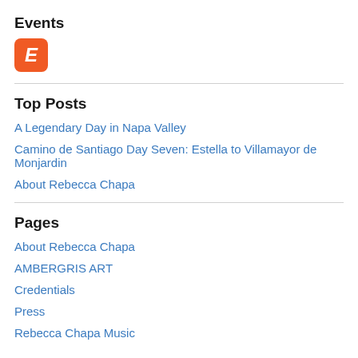Events
[Figure (logo): Eventbrite orange rounded square icon with italic white letter E]
Top Posts
A Legendary Day in Napa Valley
Camino de Santiago Day Seven: Estella to Villamayor de Monjardin
About Rebecca Chapa
Pages
About Rebecca Chapa
AMBERGRIS ART
Credentials
Press
Rebecca Chapa Music